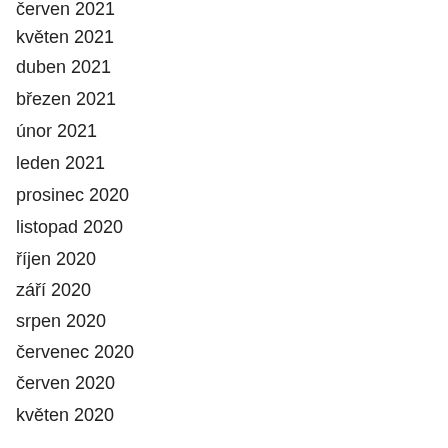červen 2021
květen 2021
duben 2021
březen 2021
únor 2021
leden 2021
prosinec 2020
listopad 2020
říjen 2020
září 2020
srpen 2020
červenec 2020
červen 2020
květen 2020